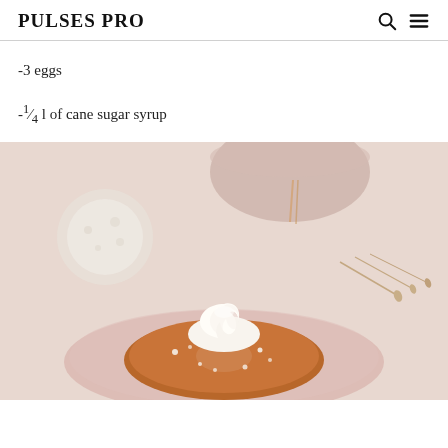PULSES PRO
-3 eggs
-¼ l of cane sugar syrup
[Figure (photo): A baked donut or savarin topped with swirled whipped cream and powdered sugar, placed on a pink plate. Background shows a round pink bowl and dried flowers/oats on a light surface.]